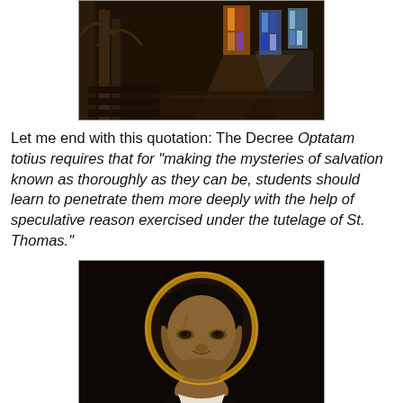[Figure (photo): Interior of a gothic cathedral with stained glass windows and dramatic lighting]
Let me end with this quotation: The Decree Optatam totius requires that for “making the mysteries of salvation known as thoroughly as they can be, students should learn to penetrate them more deeply with the help of speculative reason exercised under the tutelage of St. Thomas.”
[Figure (photo): Portrait painting of St. Thomas Aquinas with a golden halo, wearing black Dominican habit]